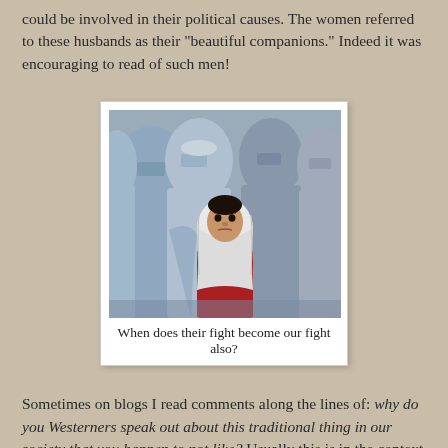could be involved in their political causes. The women referred to these husbands as their "beautiful companions." Indeed it was encouraging to read of such men!
[Figure (photo): A group of women wearing blue burqas standing together, with a young girl in a white headscarf and red clothing seated/standing in front of them, looking directly at the camera.]
When does their fight become our fight also?
Sometimes on blogs I read comments along the lines of: why do you Westerners speak out about this traditional thing in our society that you happen to not like? Usually this is in the context of giving women more rights. Occasionally it is